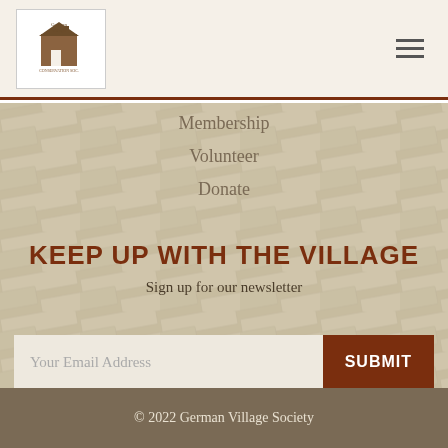[Figure (logo): German Village Society logo with building icon and text]
Membership
Volunteer
Donate
KEEP UP WITH THE VILLAGE
Sign up for our newsletter
Your Email Address
SUBMIT
© 2022 German Village Society